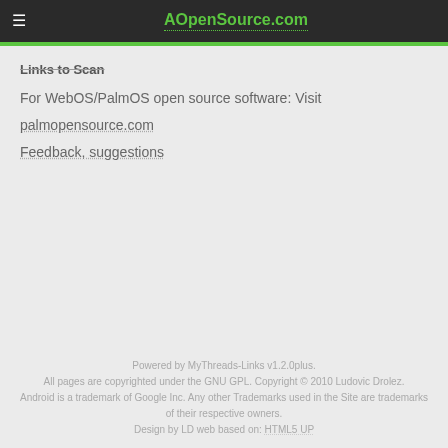AOpenSource.com
Links to Scan
For WebOS/PalmOS open source software: Visit
palmopensource.com
Feedback, suggestions
Powered by MyThreads-Links v1.2.0plus. All pages are copyrighted under the GNU GPL. Copyright © 2010 Ludovic Drolez. Android is a trademark of Google Inc. Any other Trademarks used in the Site are trademarks of their respective owners. Design by LD web based on: HTML5 UP